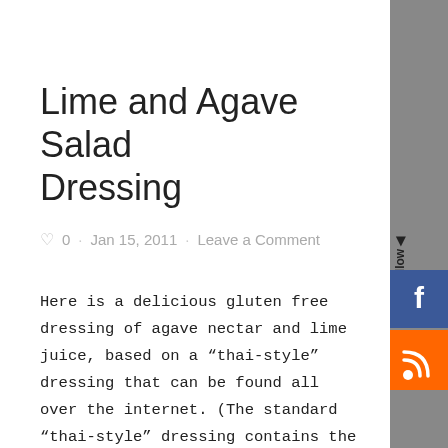Lime and Agave Salad Dressing
0 · Jan 15, 2011 · Leave a Comment
Here is a delicious gluten free dressing of agave nectar and lime juice, based on a “thai-style” dressing that can be found all over the internet. (The standard “thai-style” dressing contains the now evil corn syrup, once sooooo trendy and now hiding shamefully in the back of many American
[Figure (other): Sidebar with follow label, Facebook icon, and RSS icon on grey background]